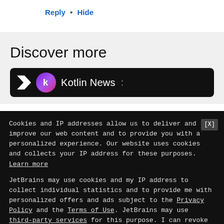Reply • Hide
Discover more
[Figure (screenshot): Kotlin News banner with purple K logo and gradient circle icon on dark background]
Cookies and IP addresses allow us to deliver and improve our web content and to provide you with a personalized experience. Our website uses cookies and collects your IP address for these purposes. Learn more
JetBrains may use cookies and my IP address to collect individual statistics and to provide me with personalized offers and ads subject to the Privacy Policy and the Terms of Use. JetBrains may use third-party services for this purpose. I can revoke my consent at any time by visiting the Opt-Out page.
[Yes, I agree]   [No, thanks]